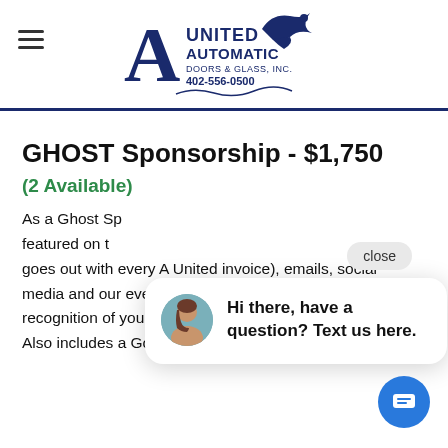United Automatic Doors & Glass, Inc. 402-556-0500
GHOST Sponsorship - $1,750
(2 Available)
As a Ghost Sponsor, your logo will be featured on the flyer that goes out with every A United invoice), emails, social media and our event banner. There will also recognition of your sponsorship on every golf cart. Also includes a Golf Foursome
[Figure (screenshot): Chat popup with avatar saying 'Hi there, have a question? Text us here.' with close button and chat icon]